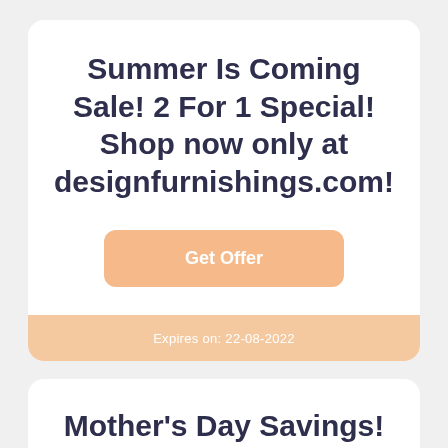Summer Is Coming Sale! 2 For 1 Special! Shop now only at designfurnishings.com!
Get Offer
Expires on: 22-08-2022
Mother's Day Savings! Over 60% Off For A Limited